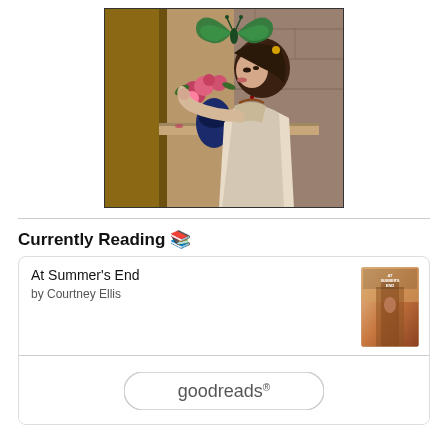[Figure (illustration): A Pre-Raphaelite style painting of a young woman with dark hair smelling flowers near a window, with a green butterfly overlay at the top. The painting shows rich warm tones with a stone doorway background.]
Currently Reading 📚
At Summer's End
by Courtney Ellis
[Figure (photo): Book cover thumbnail for 'At Summer's End' by Courtney Ellis — warm toned cover with figure and architectural elements]
[Figure (logo): Goodreads logo button — white rounded rectangle with 'goodreads' text and registered trademark symbol]